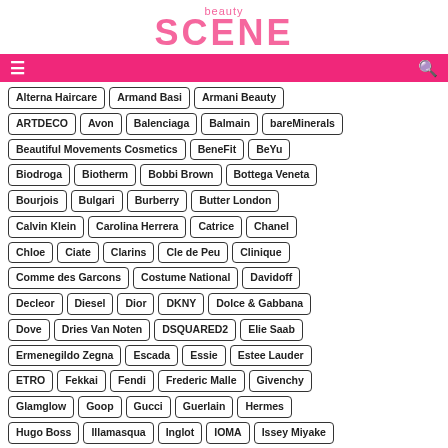beauty SCENE
Alterna Haircare
Armand Basi
Armani Beauty
ARTDECO
Avon
Balenciaga
Balmain
bareMinerals
Beautiful Movements Cosmetics
BeneFit
BeYu
Biodroga
Biotherm
Bobbi Brown
Bottega Veneta
Bourjois
Bulgari
Burberry
Butter London
Calvin Klein
Carolina Herrera
Catrice
Chanel
Chloe
Ciate
Clarins
Cle de Peu
Clinique
Comme des Garcons
Costume National
Davidoff
Decleor
Diesel
Dior
DKNY
Dolce & Gabbana
Dove
Dries Van Noten
DSQUARED2
Elie Saab
Ermenegildo Zegna
Escada
Essie
Estee Lauder
ETRO
Fekkai
Fendi
Frederic Malle
Givenchy
Glamglow
Goop
Gucci
Guerlain
Hermes
Hugo Boss
Illamasqua
Inglot
IOMA
Issey Miyake